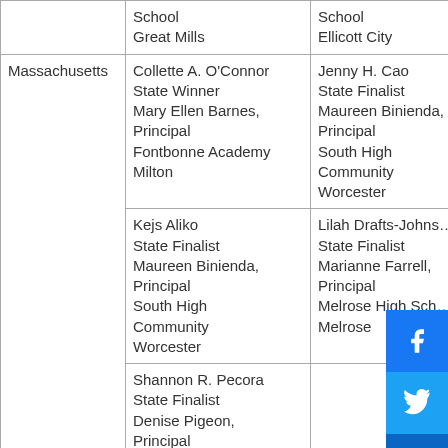| State | Winner/Finalist Info (col 2) | Winner/Finalist Info (col 3) |
| --- | --- | --- |
|  | School
Great Mills | School
Ellicott City |
| Massachusetts | Collette A. O'Connor
State Winner
Mary Ellen Barnes, Principal
Fontbonne Academy
Milton | Jenny H. Cao
State Finalist
Maureen Binienda, Principal
South High Community
Worcester |
|  | Kejs Aliko
State Finalist
Maureen Binienda, Principal
South High Community
Worcester | Lilah Drafts-Johnson
State Finalist
Marianne Farrell, Principal
Melrose High School
Melrose |
|  | Shannon R. Pecora
State Finalist
Denise Pigeon, Principal |  |